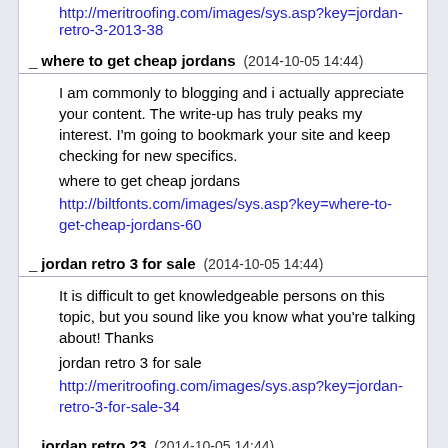http://meritroofing.com/images/sys.asp?key=jordan-retro-3-2013-38
_ where to get cheap jordans (2014-10-05 14:44)
I am commonly to blogging and i actually appreciate your content. The write-up has truly peaks my interest. I'm going to bookmark your site and keep checking for new specifics.
where to get cheap jordans
http://biltfonts.com/images/sys.asp?key=where-to-get-cheap-jordans-60
_ jordan retro 3 for sale (2014-10-05 14:44)
It is difficult to get knowledgeable persons on this topic, but you sound like you know what you're talking about! Thanks
jordan retro 3 for sale
http://meritroofing.com/images/sys.asp?key=jordan-retro-3-for-sale-34
_ jordan retro 23 (2014-10-05 14:44)
There's noticeably a bundle to understand about this. I assume you produced specific nice points in functions also.
jordan retro 23